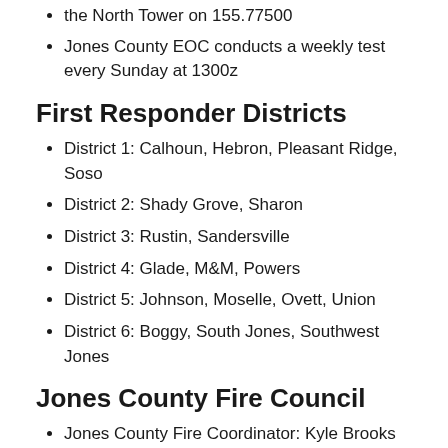the North Tower on 155.77500
Jones County EOC conducts a weekly test every Sunday at 1300z
First Responder Districts
District 1: Calhoun, Hebron, Pleasant Ridge, Soso
District 2: Shady Grove, Sharon
District 3: Rustin, Sandersville
District 4: Glade, M&M, Powers
District 5: Johnson, Moselle, Ovett, Union
District 6: Boggy, South Jones, Southwest Jones
Jones County Fire Council
Jones County Fire Coordinator: Kyle Brooks (FC1)
Jones County Fire Council President: Jones County Fire Coordinator: Kyle Brooks